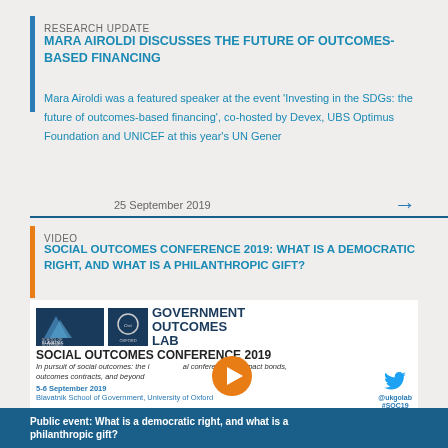RESEARCH UPDATE
MARA AIROLDI DISCUSSES THE FUTURE OF OUTCOMES-BASED FINANCING
Mara Airoldi was a featured speaker at the event 'Investing in the SDGs: the future of outcomes-based financing', co-hosted by Devex, UBS Optimus Foundation and UNICEF at this year's UN Gener
25 September 2019
VIDEO
SOCIAL OUTCOMES CONFERENCE 2019: WHAT IS A DEMOCRATIC RIGHT, AND WHAT IS A PHILANTHROPIC GIFT?
[Figure (screenshot): Video thumbnail for the Social Outcomes Conference 2019 featuring Government Outcomes Lab logo, conference title 'SOCIAL OUTCOMES CONFERENCE 2019', subtitle 'In pursuit of social outcomes: the international conference on impact bonds, outcomes contracts, and beyond', dates '5-6 September 2019', location 'Blavatnik School of Government, University of Oxford', a play button, and Twitter handle @ukgolab #SOC19]
Public event: What is a democratic right, and what is a philanthropic gift?